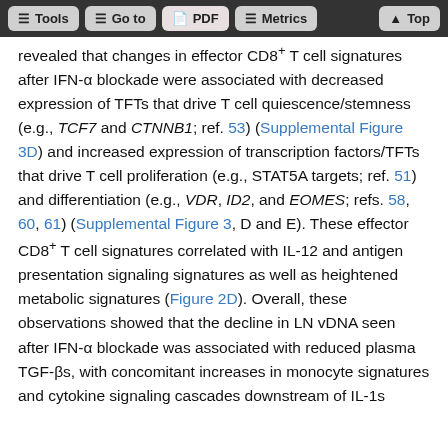Tools | Go to | PDF | Metrics | Top
revealed that changes in effector CD8+ T cell signatures after IFN-α blockade were associated with decreased expression of TFTs that drive T cell quiescence/stemness (e.g., TCF7 and CTNNB1; ref. 53) (Supplemental Figure 3D) and increased expression of transcription factors/TFTs that drive T cell proliferation (e.g., STAT5A targets; ref. 51) and differentiation (e.g., VDR, ID2, and EOMES; refs. 58, 60, 61) (Supplemental Figure 3, D and E). These effector CD8+ T cell signatures correlated with IL-12 and antigen presentation signaling signatures as well as heightened metabolic signatures (Figure 2D). Overall, these observations showed that the decline in LN vDNA seen after IFN-α blockade was associated with reduced plasma TGF-βs, with concomitant increases in monocyte signatures and cytokine signaling cascades downstream of IL-1s